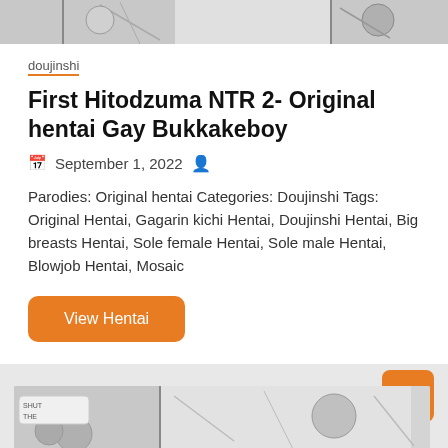[Figure (illustration): Cropped manga/comic strip image at the top of the page, showing partial black and white illustration panels]
doujinshi
First Hitodzuma NTR 2- Original hentai Gay Bukkakeboy
September 1, 2022
Parodies: Original hentai Categories: Doujinshi Tags: Original Hentai, Gagarin kichi Hentai, Doujinshi Hentai, Big breasts Hentai, Sole female Hentai, Sole male Hentai, Blowjob Hentai, Mosaic
View Hentai
[Figure (illustration): Cropped manga/comic strip image at the bottom of the page showing partial black and white illustration panels with text 'SHUT THE']